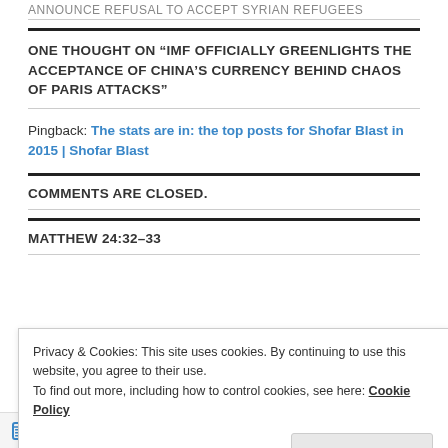ANNOUNCE REFUSAL TO ACCEPT SYRIAN REFUGEES
ONE THOUGHT ON “IMF OFFICIALLY GREENLIGHTS THE ACCEPTANCE OF CHINA’S CURRENCY BEHIND CHAOS OF PARIS ATTACKS”
Pingback: The stats are in: the top posts for Shofar Blast in 2015 | Shofar Blast
COMMENTS ARE CLOSED.
MATTHEW 24:32–33
Privacy & Cookies: This site uses cookies. By continuing to use this website, you agree to their use.
To find out more, including how to control cookies, see here: Cookie Policy
Close and accept
Follow